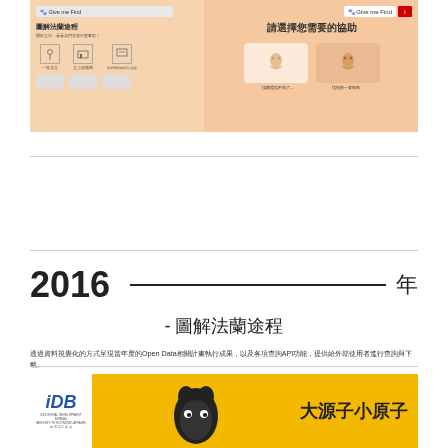[Figure (screenshot): Two screenshots of a website interface: left panel shows a tutorial/guide page with Chinese text '圖解法蘭途程' and icons; right panel shows a help selection page with Chinese text '請選擇您需要的協助' and dog silhouettes]
2016 _______ 年
- 圖解法蘭途程
透過資料視覺化的方式呈現當年度的Open Data相關計畫執行成果，以及各項查詢API功能，提供給外部使用者進行查詢與下載。
[Figure (screenshot): Bottom banner with IDB logo and mascot characters '大源子小原子']